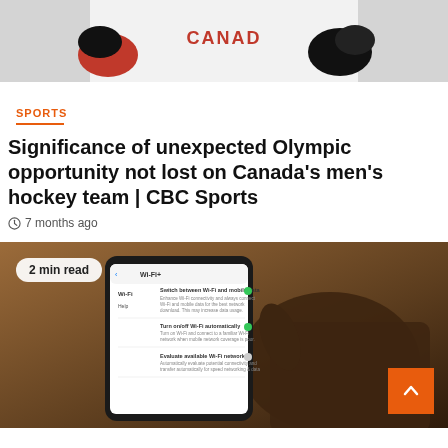[Figure (photo): Hockey players in Canada jerseys, cropped to show torsos and gloves]
SPORTS
Significance of unexpected Olympic opportunity not lost on Canada's men's hockey team | CBC Sports
7 months ago
[Figure (photo): Hand holding a smartphone showing Wi-Fi settings screen, brown background. Badge reads '2 min read'.]